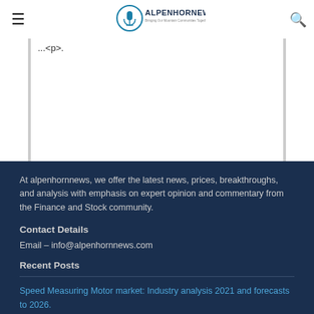ALPENHORNNEWS — Bringing Our Mountain Communities Together Since 1985
... (truncated content area)
At alpenhornnews, we offer the latest news, prices, breakthroughs, and analysis with emphasis on expert opinion and commentary from the Finance and Stock community.
Contact Details
Email – info@alpenhornnews.com
Recent Posts
Speed Measuring Motor market: Industry analysis 2021 and forecasts to 2026.